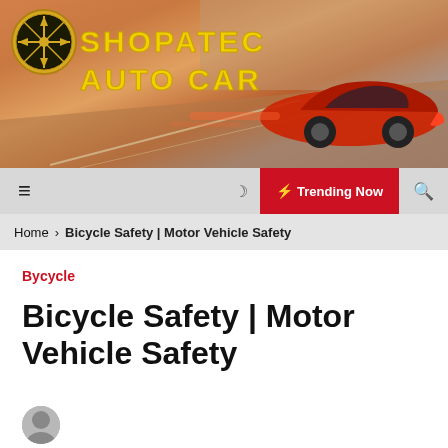[Figure (illustration): SHOPATEC AUTO CAR website banner header with logo (circular compass/star emblem) and yellow stylized text 'SHOPATEC AUTO CAR' over a background showing a red sports car on a racetrack]
☰  🌙  ⚡ Trending Now  🔍
Home › Bicycle Safety | Motor Vehicle Safety
Bycycle
Bicycle Safety | Motor Vehicle Safety